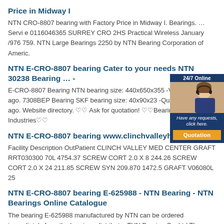Price in Midway I
NTN CRO-8807 bearing with Factory Price in Midway I. Bearings. … Servi e 0116046365 SURREY CRO 2HS Practical Wireless January /976 759. NTN Large Bearings 2250 by NTN Bearing Corporation of Americ.
NTN E-CRO-8807 bearing Cater to your needs NTN 30238 Bearing … -
E-CRO-8807 Bearing NTN bearing size: 440x650x355 -Various model ago. 7308BEP Bearing SKF bearing size: 40x90x23 -Quick query size. ago. Website directory. ♡♡ Ask for quotation! ♡♡Bearings - NTN - M Industries♡♡
NTN E-CRO-8807 bearing www.clinchvalleyhealth.
Facility Description OutPatient CLINCH VALLEY MED CENTER GRAFT RRT030300 70L 4754.37 SCREW CORT 2.0 X 8 244.26 SCREW CORT 2.0 X 24 211.85 SCREW SYN 209.870 1472.5 GRAFT V06080L 25
NTN E-CRO-8807 bearing E-625988 - NTN Bearing - NTN Bearings Online Catalogue
The bearing E-625988 manufactured by NTN can be ordered immediately from the bearings distributor TUN Bearing Co.,Ltd.The bearings delivery is done directly from the stock, and in the event the bearings are not in stock, we shall inform you immediately related to the delivery term. For extra details